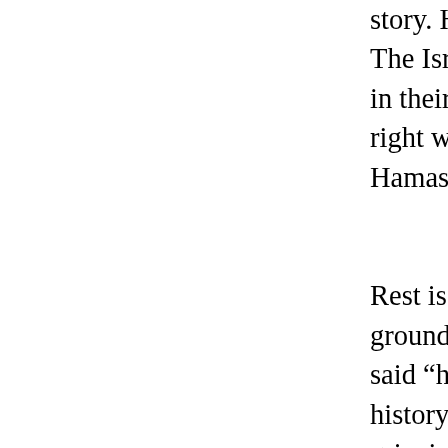story. He was kidnapped by right wing Israe... The Israeli government issued a token condo... in their own hands. Soon after, Israeli forces... right wing Jewish group and began killing Pa... Hamas leadership. Rest is as usual. Beginning with air strikes o... ground invasion, Israel forces will destroy wh... said "history doesn't repeat itself, but it does... history of Palestine rhymes - with the sound... grieving Palestinian mothers. In a gap of eve... justification for bombing and invading Gaza/W... ensures that everything razed to the ground. Apart from strengthening the apartheid and h... Israeli people under the veil of patriotism, th... two ways. One, it helps in creating a constan... helps in testing the new and innovated weap... industry is one of the most important sectors... Forces (IDF). Israel is also one of the major a... world's total. Remember, Eisenhower's "Milit... warned that MIC will be a major impulse for n... that Israeli state brews against Palestinians,... major attack on Gaza/West Bank is the nee...